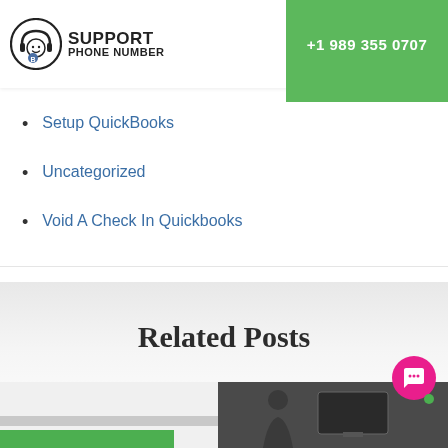[Figure (logo): Support Phone Number logo with headset icon and green phone number button showing +1 989 355 0707]
Setup QuickBooks
Uncategorized
Void A Check In Quickbooks
Related Posts
[Figure (photo): Two partial images at the bottom: left shows green and gray bars on light background, right shows a person at a desk with computer/monitor in dim lighting]